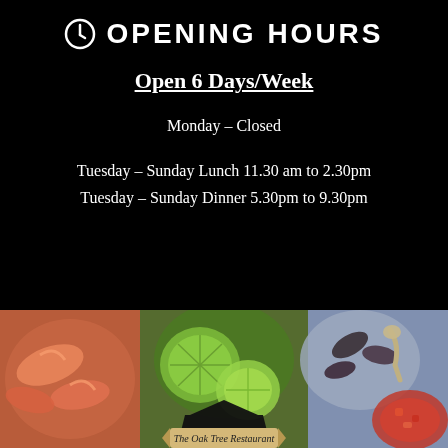OPENING HOURS
Open 6 Days/Week
Monday – Closed
Tuesday – Sunday Lunch 11.30 am to 2.30pm
Tuesday – Sunday Dinner 5.30pm to 9.30pm
[Figure (photo): Food photo showing seafood dishes including prawns, lime slices, mussels, and a tomato-based sauce in bowls, with The Oak Tree Restaurant logo overlay at the bottom center.]